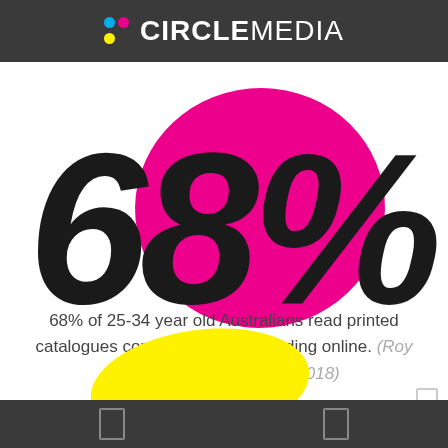CIRCLE MEDIA
[Figure (infographic): Large bold italic '68%' text in dark/black color overlaid on a magenta/pink circular blob shape, serving as a visual statistic highlight]
68% of 25-34 year old Australians read printed catalogues compared to 12% reading online. (Roy Morgan Research, 2017-2018)
[Figure (illustration): Yellow paint blob/splatter shape partially visible at bottom of page]
navigation icons